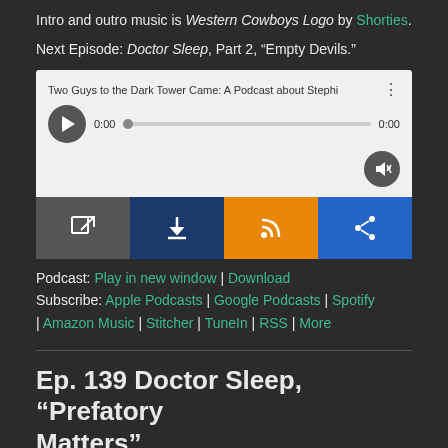Intro and outro music is Western Cowboys Logo by Shorties.
Next Episode: Doctor Sleep, Part 2, “Empty Devils.”
[Figure (screenshot): Embedded audio player widget showing podcast title 'Two Guys to the Dark Tower Came: A Podcast about Stephi' with play button, scrub bar, timestamps 0:00, and volume control. Below the player are four colored action buttons: open (dark gray), download (dark blue), RSS (orange), and share (blue).]
Podcast: Play in new window | Download
Subscribe: Apple Podcasts | Google Podcasts | Spotify | Amazon Music | Stitcher | TuneIn | RSS | More
Ep. 139 Doctor Sleep, “Prefatory Matters”